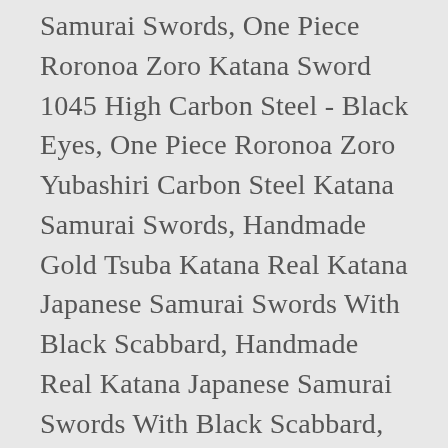Samurai Swords, One Piece Roronoa Zoro Katana Sword 1045 High Carbon Steel - Black Eyes, One Piece Roronoa Zoro Yubashiri Carbon Steel Katana Samurai Swords, Handmade Gold Tsuba Katana Real Katana Japanese Samurai Swords With Black Scabbard, Handmade Real Katana Japanese Samurai Swords With Black Scabbard, Handmade Black Tsuba Real Katana Japanese Samurai Swords, Modern Black Full Tang Japanese Katana Samurai Swords With Leather Scabbard, Handmade High Performance Stainless Steel Japanese Samurai Sword Katana, Handmade Gold Tsuba Real Katana Japanese Samurai Swords, Handmade Gilt Dragon Tsuba Real Katana Japanese Samurai Swords, Handmade